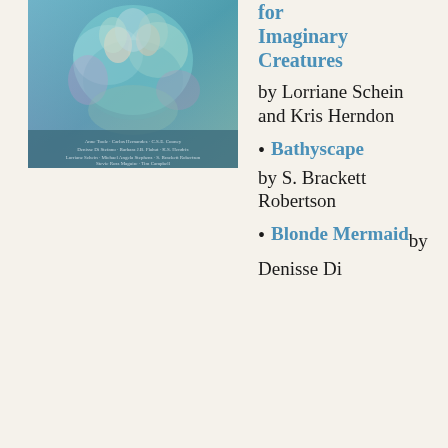[Figure (illustration): Book cover with a painterly fantasy artwork featuring ethereal figures among flowers in blue and teal tones, with author names listed at the bottom]
for Imaginary Creatures
by Lorriane Schein and Kris Herndon
Bathyscape by S. Brackett Robertson
Blonde Mermaid by Denisse Di